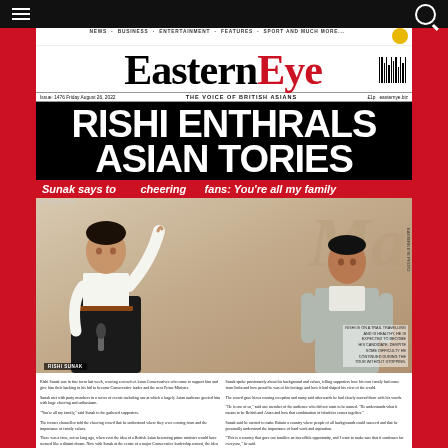Eastern Eye - Navigation bar with hamburger menu and search icon
[Figure (photo): Eastern Eye newspaper front page screenshot showing the masthead, headline 'RISHI ENTHRALS ASIAN TORIES', subheadline 'Sunak says to cheering fans: You're all my family', and photos of Rishi Sunak with arm raised holding microphone, and a second person in a grey suit]
Eastern Eye
NEWS  BUSINESS  ENTERTAINMENT  FEATURES  SPORT AND MUCH MORE...
Issue: 1476  Friday August 26, 2022     THE VOICE OF BRITISH ASIANS     £1p     easternye.biz
RISHI ENTHRALS ASIAN TORIES
Sunak says to cheering fans: You're all my family
RISHI SUNAK
Body article text describing Rishi Sunak's appearance at an event with Asian Conservative supporters